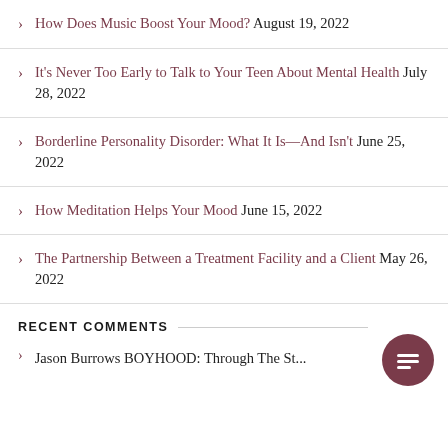How Does Music Boost Your Mood? August 19, 2022
It's Never Too Early to Talk to Your Teen About Mental Health July 28, 2022
Borderline Personality Disorder: What It Is—And Isn't June 25, 2022
How Meditation Helps Your Mood June 15, 2022
The Partnership Between a Treatment Facility and a Client May 26, 2022
RECENT COMMENTS
Jason Burrows BOYHOOD: Through The St...